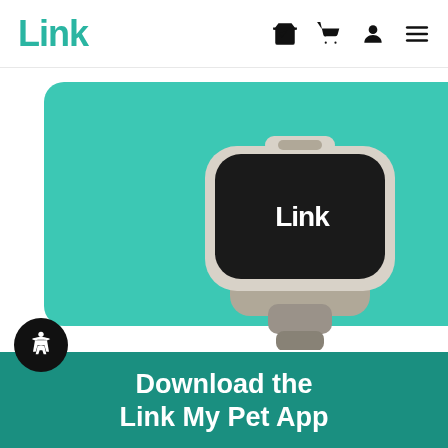Link
[Figure (photo): Link GPS pet tracker device — a rounded rectangular black and white/beige device with 'Link' branding — displayed on a teal/turquoise background]
Download the Link My Pet App
Ensure you never miss a moment with your BFF by joining Link's community of pet parents. Instantly access your dog's exact location with GPS tracking, record daily activity goals and adventures, learn good